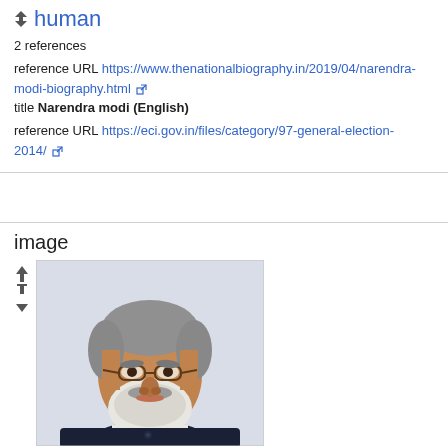human
2 references
reference URL https://www.thenationalbiography.in/2019/04/narendra-modi-biography.html
title Narendra modi (English)
reference URL https://eci.gov.in/files/category/97-general-election-2014/
image
[Figure (photo): Portrait photo of Narendra Modi, an older man with grey hair and a white beard, wearing glasses and a dark jacket over a white shirt, against a light background.]